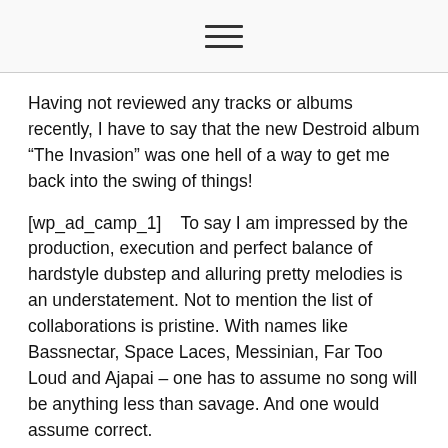☰
Having not reviewed any tracks or albums recently, I have to say that the new Destroid album “The Invasion” was one hell of a way to get me back into the swing of things!
[wp_ad_camp_1]   To say I am impressed by the production, execution and perfect balance of hardstyle dubstep and alluring pretty melodies is an understatement. Not to mention the list of collaborations is pristine. With names like Bassnectar, Space Laces, Messinian, Far Too Loud and Ajapai – one has to assume no song will be anything less than savage. And one would assume correct.